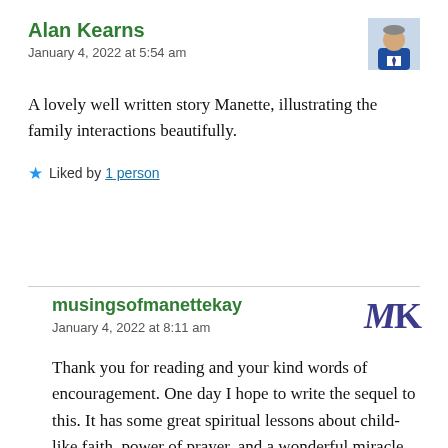Alan Kearns
January 4, 2022 at 5:54 am
[Figure (photo): Profile photo of Alan Kearns, a man in a blue suit]
A lovely well written story Manette, illustrating the family interactions beautifully.
★ Liked by 1 person
musingsofmanettekay
January 4, 2022 at 8:11 am
[Figure (logo): MK avatar logo in dark blue serif font]
Thank you for reading and your kind words of encouragement. One day I hope to write the sequel to this. It has some great spiritual lessons about child-like faith, power of prayer, and a wonderful miracle of God.